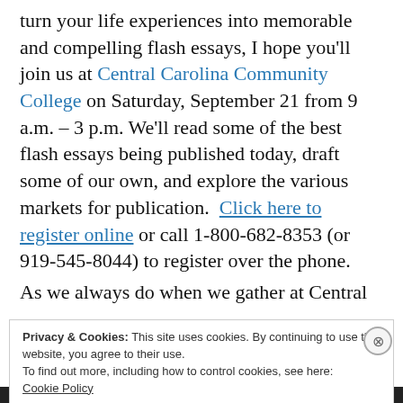turn your life experiences into memorable and compelling flash essays, I hope you'll join us at Central Carolina Community College on Saturday, September 21 from 9 a.m. – 3 p.m. We'll read some of the best flash essays being published today, draft some of our own, and explore the various markets for publication.  Click here to register online or call 1-800-682-8353 (or 919-545-8044) to register over the phone.
As we always do when we gather at Central
Privacy & Cookies: This site uses cookies. By continuing to use this website, you agree to their use.
To find out more, including how to control cookies, see here:
Cookie Policy

Close and accept